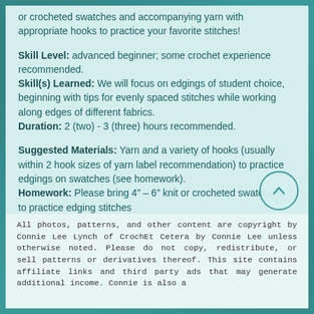or crocheted swatches and accompanying yarn with appropriate hooks to practice your favorite stitches!
Skill Level: advanced beginner; some crochet experience recommended. Skill(s) Learned: We will focus on edgings of student choice, beginning with tips for evenly spaced stitches while working along edges of different fabrics. Duration: 2 (two) - 3 (three) hours recommended.
Suggested Materials: Yarn and a variety of hooks (usually within 2 hook sizes of yarn label recommendation) to practice edgings on swatches (see homework). Homework: Please bring 4" – 6" knit or crocheted swatch(es) to practice edging stitches
All photos, patterns, and other content are copyright by Connie Lee Lynch of CrochEt Cetera by Connie Lee unless otherwise noted. Please do not copy, redistribute, or sell patterns or derivatives thereof. This site contains affiliate links and third party ads that may generate additional income. Connie is also a